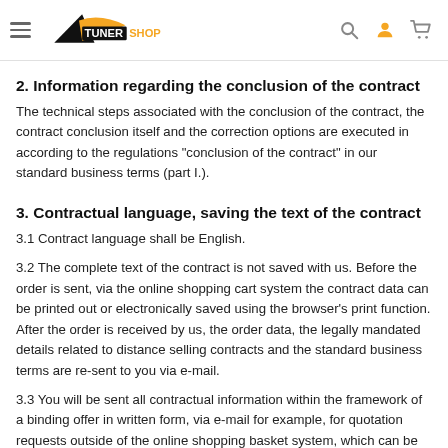TunerShop
2. Information regarding the conclusion of the contract
The technical steps associated with the conclusion of the contract, the contract conclusion itself and the correction options are executed in according to the regulations "conclusion of the contract" in our standard business terms (part I.).
3. Contractual language, saving the text of the contract
3.1 Contract language shall be English.
3.2 The complete text of the contract is not saved with us. Before the order is sent, via the online shopping cart system the contract data can be printed out or electronically saved using the browser's print function. After the order is received by us, the order data, the legally mandated details related to distance selling contracts and the standard business terms are re-sent to you via e-mail.
3.3 You will be sent all contractual information within the framework of a binding offer in written form, via e-mail for example, for quotation requests outside of the online shopping basket system, which can be printed out or saved electronically in a secure manner.